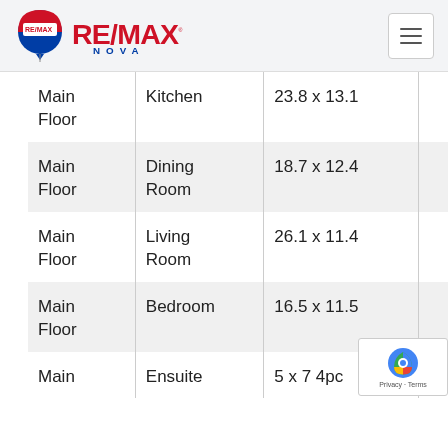RE/MAX NOVA
| Level | Room | Dimensions |
| --- | --- | --- |
| Main Floor | Kitchen | 23.8 x 13.1 |
| Main Floor | Dining Room | 18.7 x 12.4 |
| Main Floor | Living Room | 26.1 x 11.4 |
| Main Floor | Bedroom | 16.5 x 11.5 |
| Main Floor | Ensuite | 5 x 7 4pc |